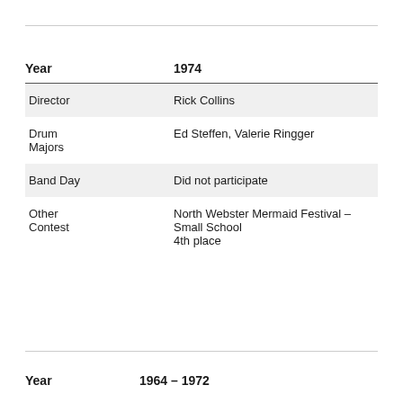| Year | 1974 |
| --- | --- |
| Director | Rick Collins |
| Drum Majors | Ed Steffen, Valerie Ringger |
| Band Day | Did not participate |
| Other Contest | North Webster Mermaid Festival – Small School 4th place |
Year     1964 – 1972